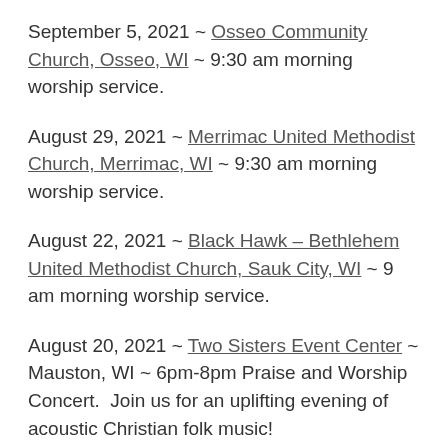September 5, 2021 ~ Osseo Community Church, Osseo, WI ~ 9:30 am morning worship service.
August 29, 2021 ~ Merrimac United Methodist Church, Merrimac, WI ~ 9:30 am morning worship service.
August 22, 2021 ~ Black Hawk – Bethlehem United Methodist Church, Sauk City, WI ~ 9 am morning worship service.
August 20, 2021 ~ Two Sisters Event Center ~ Mauston, WI ~ 6pm-8pm Praise and Worship Concert.  Join us for an uplifting evening of acoustic Christian folk music!
August 8, 2021 ~ Lane Christian Church ~ Lane, IL ~ Special Morning and Mission presentation at ...